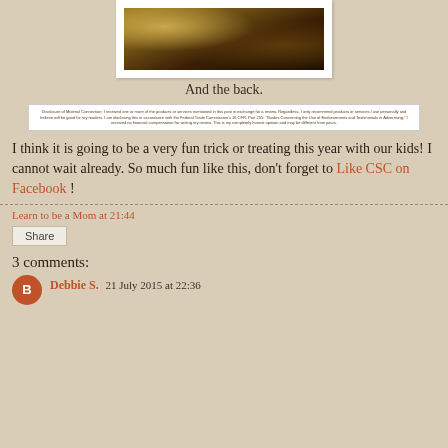[Figure (photo): Photograph showing the back of an item on a dark wooden surface with toys]
And the back.
[Figure (other): Disclaimer text box with small print about monetary compensation and FTC guidelines]
I think it is going to be a very fun trick or treating this year with our kids! I cannot wait already. So much fun like this, don't forget to Like CSC on Facebook !
Learn to be a Mom at 21:44
Share
3 comments:
Debbie S. 21 July 2015 at 22:36